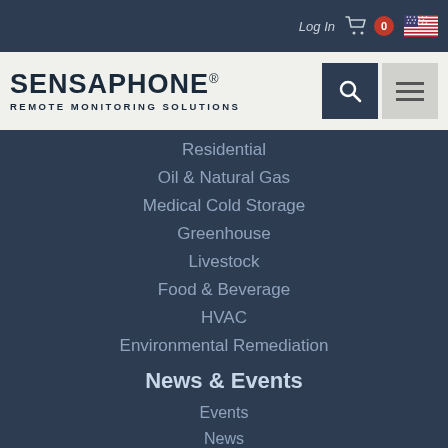Log In  0  [US Flag]
[Figure (logo): Sensaphone logo with text SENSAPHONE REMOTE MONITORING SOLUTIONS, search icon button and menu icon button]
Residential
Oil & Natural Gas
Medical Cold Storage
Greenhouse
Livestock
Food & Beverage
HVAC
Environmental Remediation
News & Events
Events
News
Case Studies
Blog
About